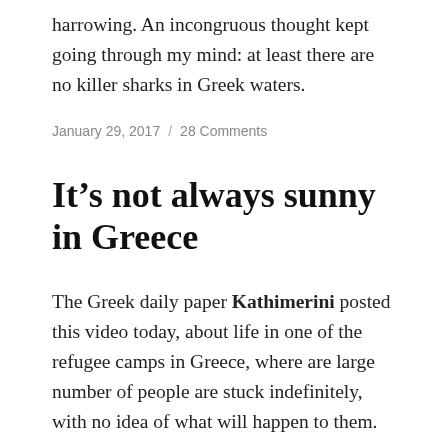harrowing. An incongruous thought kept going through my mind: at least there are no killer sharks in Greek waters.
January 29, 2017  /  28 Comments
It’s not always sunny in Greece
The Greek daily paper Kathimerini posted this video today, about life in one of the refugee camps in Greece, where are large number of people are stuck indefinitely, with no idea of what will happen to them.